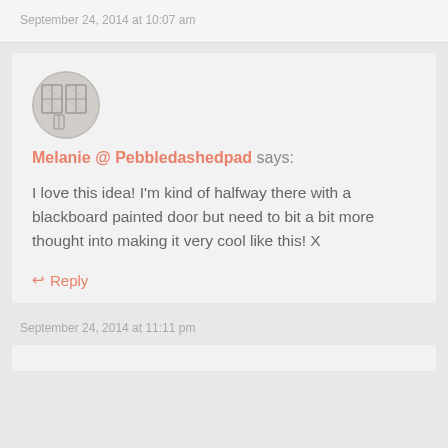September 24, 2014 at 10:07 am
[Figure (illustration): Circular avatar image showing a pencil sketch of building windows/doors]
Melanie @ Pebbledashedpad says:
I love this idea! I'm kind of halfway there with a blackboard painted door but need to bit a bit more thought into making it very cool like this! X
Reply
September 24, 2014 at 11:11 pm